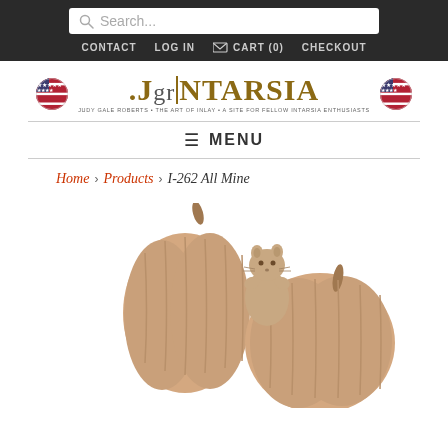Search... | CONTACT  LOG IN  CART (0)  CHECKOUT
[Figure (logo): JGR Intarsia logo with two US flag circles on either side. Text reads: JUDY GALE ROBERTS • THE ART OF INLAY • A SITE FOR FELLOW INTARSIA ENTHUSIASTS]
≡ MENU
Home › Products › I-262 All Mine
[Figure (photo): Intarsia wood carving of a squirrel peeking over two large pumpkins, in light tan/cream wood tones]